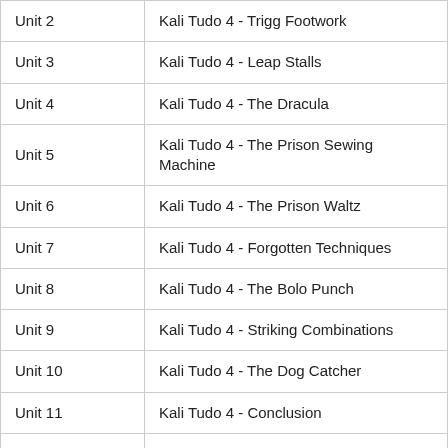| Unit | Title |
| --- | --- |
| Unit 2 | Kali Tudo 4 - Trigg Footwork |
| Unit 3 | Kali Tudo 4 - Leap Stalls |
| Unit 4 | Kali Tudo 4 - The Dracula |
| Unit 5 | Kali Tudo 4 - The Prison Sewing Machine |
| Unit 6 | Kali Tudo 4 - The Prison Waltz |
| Unit 7 | Kali Tudo 4 - Forgotten Techniques |
| Unit 8 | Kali Tudo 4 - The Bolo Punch |
| Unit 9 | Kali Tudo 4 - Striking Combinations |
| Unit 10 | Kali Tudo 4 - The Dog Catcher |
| Unit 11 | Kali Tudo 4 - Conclusion |
| Unit 12 | Kali Tudo 4 - Drilling |
| Module 2 | Central PA MMA Sessions |
| Unit 1 | Kali Tudo 4 - Background Context |
| Unit 2 | Kali Tudo 4 - Kick Evasion - Jab - Cross Entry |